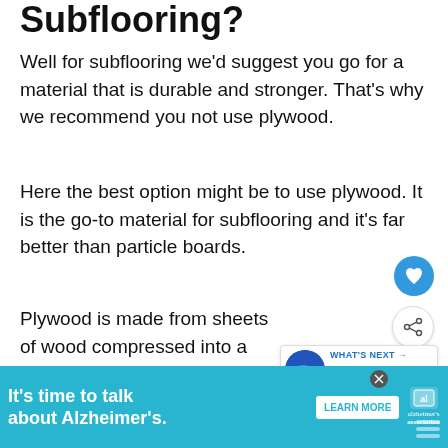Subflooring?
Well for subflooring we'd suggest you go for a material that is durable and stronger. That's why we recommend you not use plywood.
Here the best option might be to use plywood. It is the go-to material for subflooring and it's far better than particle boards.
Plywood is made from sheets of wood compressed into a single material. This makes it stronger compared to particle boards and much more durable too. Moreover, pl
[Figure (other): Heart favorite button - blue circle with heart icon]
[Figure (other): Share button - white circle with share icon]
[Figure (other): What's Next panel showing Electric Pump For Sand... with blue machinery image]
[Figure (other): Advertisement banner: It's time to talk about Alzheimer's. with Learn More button and Alzheimer's Association logo]